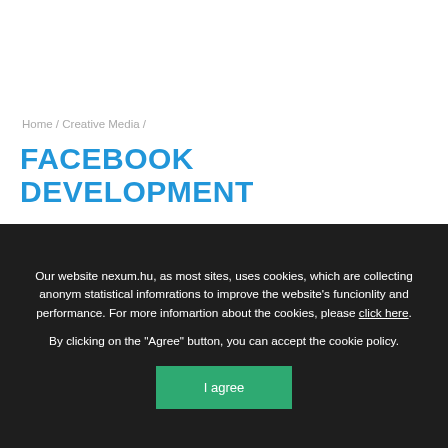Home / Creative Media /
FACEBOOK DEVELOPMENT
Our website nexum.hu, as most sites, uses cookies, which are collecting anonym statistical infomrations to improve the website's funcionlity and performance. For more infomartion about the cookies, please click here.
By clicking on the "Agree" button, you can accept the cookie policy.
I agree